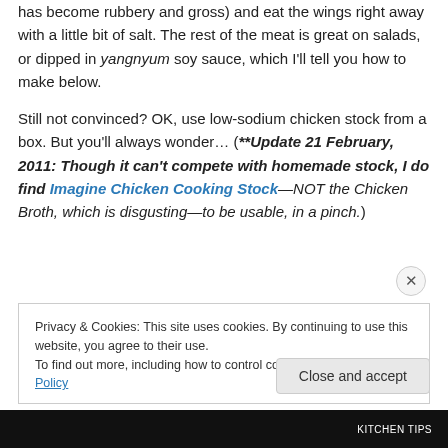has become rubbery and gross) and eat the wings right away with a little bit of salt. The rest of the meat is great on salads, or dipped in yangnyum soy sauce, which I'll tell you how to make below.
Still not convinced? OK, use low-sodium chicken stock from a box. But you'll always wonder… (**Update 21 February, 2011: Though it can't compete with homemade stock, I do find Imagine Chicken Cooking Stock—NOT the Chicken Broth, which is disgusting—to be usable, in a pinch.)
Privacy & Cookies: This site uses cookies. By continuing to use this website, you agree to their use.
To find out more, including how to control cookies, see here: Cookie Policy